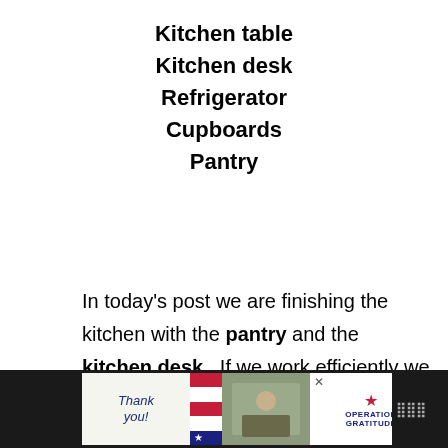Kitchen table
Kitchen desk
Refrigerator
Cupboards
Pantry
In today's post we are finishing the kitchen with the pantry and the kitchen desk.  If we work efficiently we will have the whole month to enjoy the feeling of a brand new kitchen!!
[Figure (infographic): Advertisement banner: 'Thank you!' in cursive with flag graphic, photo of military personnel, Operation Gratitude logo with star]